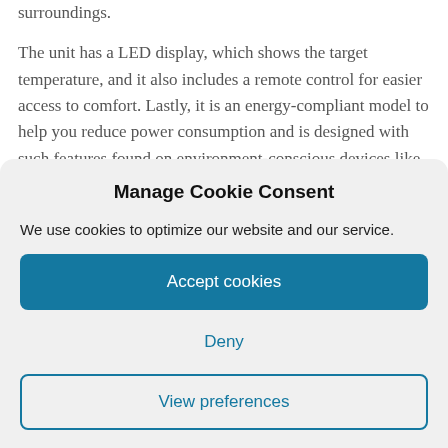surroundings.
The unit has a LED display, which shows the target temperature, and it also includes a remote control for easier access to comfort. Lastly, it is an energy-compliant model to help you reduce power consumption and is designed with such features found on environment-conscious devices like the Energy
Manage Cookie Consent
We use cookies to optimize our website and our service.
Accept cookies
Deny
View preferences